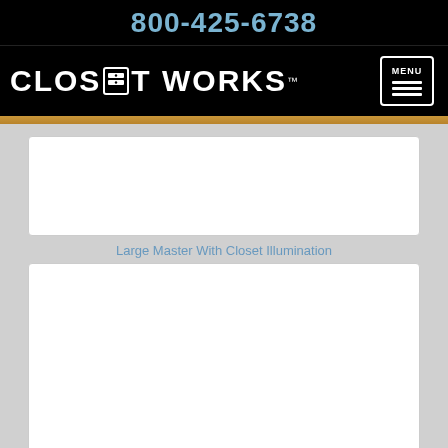800-425-6738
[Figure (logo): Closet Works logo with drawer icon and trademark symbol]
[Figure (other): White image placeholder box (top)]
Large Master With Closet Illumination
[Figure (other): White image placeholder box (bottom)]
White Master Closet With...